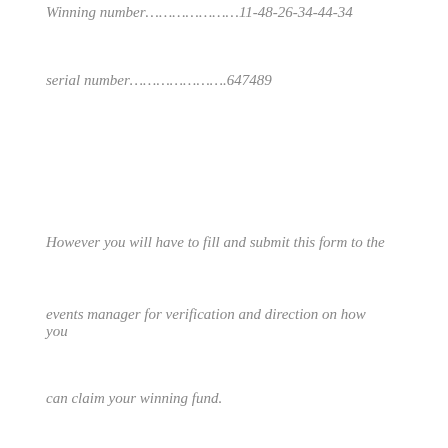Winning number…………………11-48-26-34-44-34
serial number………………….647489
However you will have to fill and submit this form to the
events manager for verification and direction on how you
can claim your winning fund.